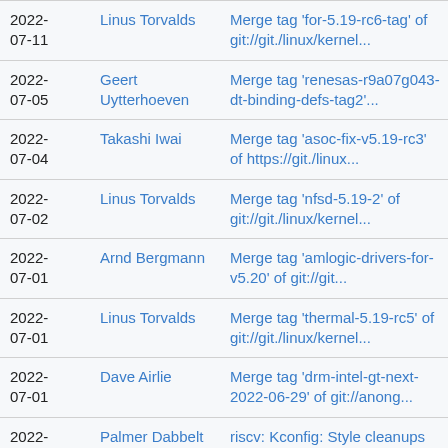| Date | Author | Commit Message | Links |
| --- | --- | --- | --- |
| 2022-07-11 | Linus Torvalds | Merge tag 'for-5.19-rc6-tag' of git://git./linux/kernel... | tree | commitdiff |
| 2022-07-05 | Geert Uytterhoeven | Merge tag 'renesas-r9a07g043-dt-binding-defs-tag2'... | tree | commitdiff |
| 2022-07-04 | Takashi Iwai | Merge tag 'asoc-fix-v5.19-rc3' of https://git./linux... | tree | commitdiff |
| 2022-07-02 | Linus Torvalds | Merge tag 'nfsd-5.19-2' of git://git./linux/kernel... | tree | commitdiff |
| 2022-07-01 | Arnd Bergmann | Merge tag 'amlogic-drivers-for-v5.20' of git://git... | tree | commitdiff |
| 2022-07-01 | Linus Torvalds | Merge tag 'thermal-5.19-rc5' of git://git./linux/kernel... | tree | commitdiff |
| 2022-07-01 | Dave Airlie | Merge tag 'drm-intel-gt-next-2022-06-29' of git://anong... | tree | commitdiff |
| 2022-07-01 | Palmer Dabbelt | riscv: Kconfig: Style cleanups | tree | commitdiff |
| 2022-06-29 | Dave Airlie | Merge tag 'drm-msm-fixes-2022-06-28' of https://gitlab... | tree | commitdiff |
| 2022- | Rob Clark | Merge tag 'drm-msm-fixes-2022- | tree | |